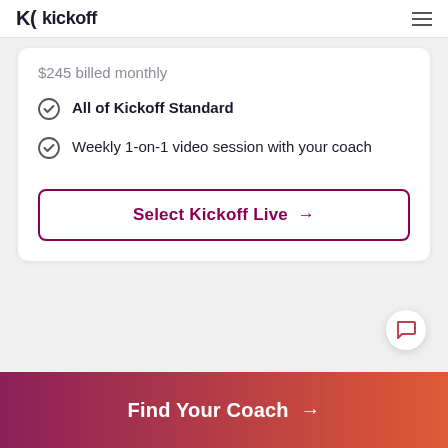kickoff
$245 billed monthly
All of Kickoff Standard
Weekly 1-on-1 video session with your coach
Select Kickoff Live →
Find Your Coach →